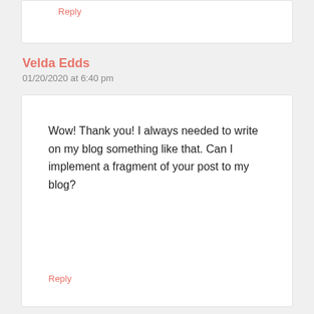Reply
Velda Edds
01/20/2020 at 6:40 pm
Wow! Thank you! I always needed to write on my blog something like that. Can I implement a fragment of your post to my blog?
Reply